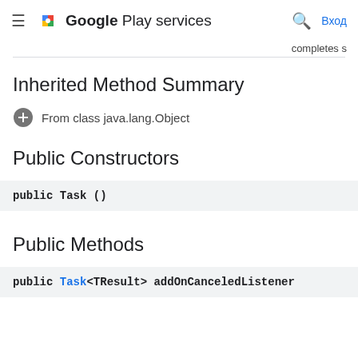Google Play services — Вход
completes s
Inherited Method Summary
+ From class java.lang.Object
Public Constructors
public Task ()
Public Methods
public Task<TResult> addOnCanceledListener